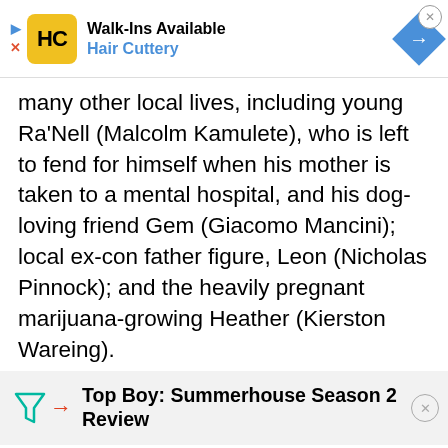[Figure (screenshot): Advertisement banner for Hair Cuttery showing Walk-Ins Available with logo and blue diamond arrow icon]
many other local lives, including young Ra’Nell (Malcolm Kamulete), who is left to fend for himself when his mother is taken to a mental hospital, and his dog-loving friend Gem (Giacomo Mancini); local ex-con father figure, Leon (Nicholas Pinnock); and the heavily pregnant marijuana-growing Heather (Kierston Wareing).
Top Boy: Summerhouse Season 2 Review
[Figure (photo): Two circular cropped photos of people, partially visible at the bottom of the page]